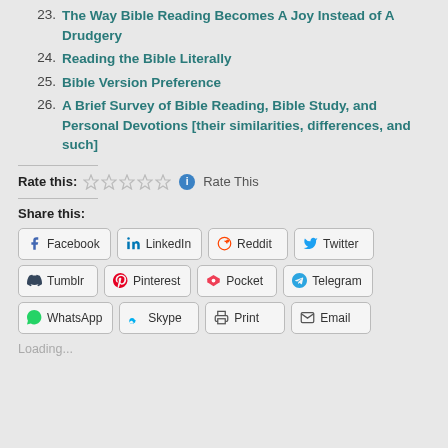23. The Way Bible Reading Becomes A Joy Instead of A Drudgery
24. Reading the Bible Literally
25. Bible Version Preference
26. A Brief Survey of Bible Reading, Bible Study, and Personal Devotions [their similarities, differences, and such]
Rate this: ☆☆☆☆☆ ℹ Rate This
Share this:
Facebook  LinkedIn  Reddit  Twitter  Tumblr  Pinterest  Pocket  Telegram  WhatsApp  Skype  Print  Email
Loading...